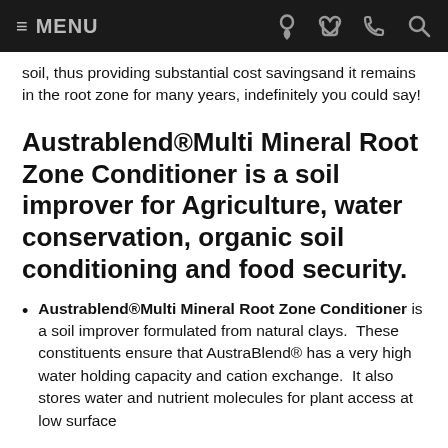≡ MENU
soil, thus providing substantial cost savingsand it remains in the root zone for many years, indefinitely you could say!
Austrablend®Multi Mineral Root Zone Conditioner is a soil improver for Agriculture, water conservation, organic soil conditioning and food security.
Austrablend®Multi Mineral Root Zone Conditioner is a soil improver formulated from natural clays.  These constituents ensure that AustraBlend® has a very high water holding capacity and cation exchange.  It also stores water and nutrient molecules for plant access at low surface